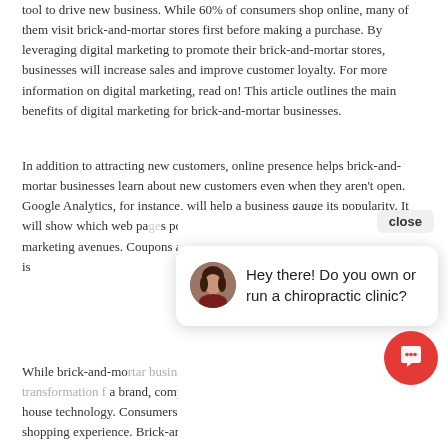tool to drive new business. While 60% of consumers shop online, many of them visit brick-and-mortar stores first before making a purchase. By leveraging digital marketing to promote their brick-and-mortar stores, businesses will increase sales and improve customer loyalty. For more information on digital marketing, read on! This article outlines the main benefits of digital marketing for brick-and-mortar businesses.
In addition to attracting new customers, online presence helps brick-and-mortar businesses learn about new customers even when they aren't open. Google Analytics, for instance, will help a business gauge its popularity. It will show which web pages are popular and will give insight into future marketing avenues. Coupons and other [text obscured] customer base. Us[text obscured] online presence is [text obscured]
[Figure (other): Chat widget overlay showing a woman's avatar photo and the text 'Hey there! Do you own or run a chiropractic clinic?' with a close button and red chat icon]
While brick-and-mo[text obscured] through an unpre[text obscured] f a brand, complete with interactive displays and back-of-house technology. Consumers will increasingly be expecting an integrated shopping experience. Brick-and-mortar stores[text obscured] warehouses, showrooms, and community hubs. In addition, digital channels will let consumers tell the retailer what they need